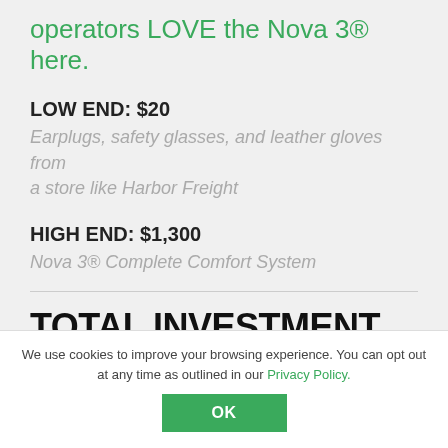operators LOVE the Nova 3® here.
LOW END: $20
Earplugs, safety glasses, and leather gloves from a store like Harbor Freight
HIGH END: $1,300
Nova 3® Complete Comfort System
TOTAL INVESTMENT
After adding everything up, the initial investment can be as low as $52k.
We use cookies to improve your browsing experience. You can opt out at any time as outlined in our Privacy Policy.